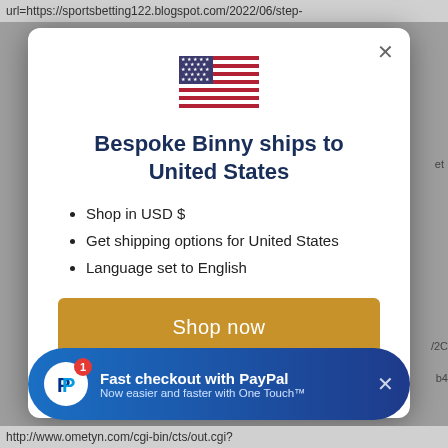url=https://sportsbetting122.blogspot.com/2022/06/step-
[Figure (screenshot): A modal dialog box with a US flag icon at the top, bold title 'Bespoke Binny ships to United States', bullet list with three items ('Shop in USD $', 'Get shipping options for United States', 'Language set to English'), and a golden 'Shop now' button. Below the modal is a PayPal promotional banner reading 'Fast checkout with PayPal / Now easier and faster with One Touch™'.]
http://www.ometyn.com/cgi-bin/cts/out.cgi?